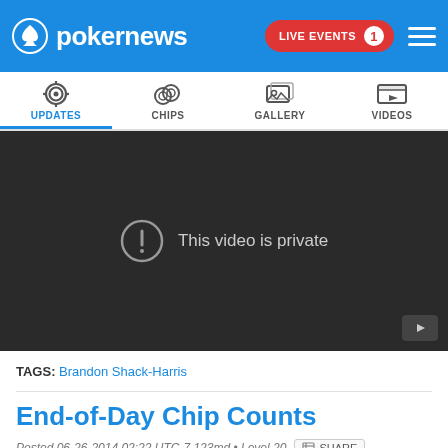pokernews — LIVE EVENTS 1
[Figure (screenshot): Navigation tabs: UPDATES (active/blue), CHIPS, GALLERY, VIDEOS with icons]
[Figure (screenshot): Embedded video player showing 'This video is private' message on dark background with YouTube icon]
TAGS: Brandon Shack-Harris
End-of-Day Chip Counts
Posted 06-26-2014 02:22 UTC-7 123md • Level 20  SHARE